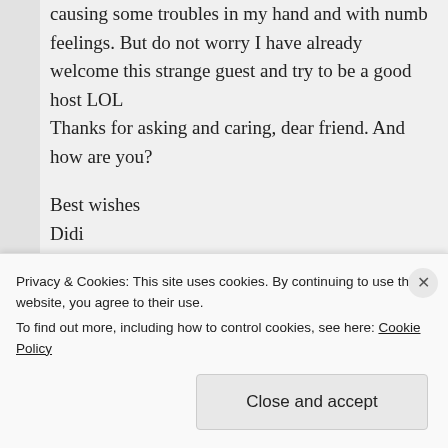causing some troubles in my hand and with numb feelings. But do not worry I have already welcome this strange guest and try to be a good host LOL
Thanks for asking and caring, dear friend. And how are you?

Best wishes
Didi
★ Liked by 2 people
Log in to Reply
Privacy & Cookies: This site uses cookies. By continuing to use this website, you agree to their use.
To find out more, including how to control cookies, see here: Cookie Policy